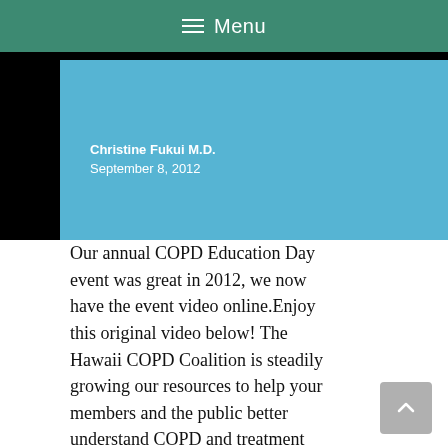≡ Menu
[Figure (screenshot): A presentation slide screenshot showing 'Christine Fukui M.D. September 8, 2012' text on a blue background, with a black area to the right.]
Our annual COPD Education Day event was great in 2012, we now have the event video online.Enjoy this original video below! The Hawaii COPD Coalition is steadily growing our resources to help your members and the public better understand COPD and treatment methods. Part of this effort includes bookmarking, creating, and sharing of informative media. … Read more